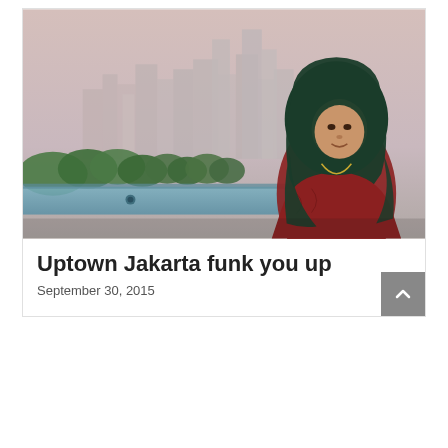[Figure (photo): A woman wearing a dark green hijab and a red patterned jacket with a necklace, standing in front of a city skyline with tall buildings and trees, with a hazy sky in the background. Appears to be Jakarta, Indonesia.]
Uptown Jakarta funk you up
September 30, 2015